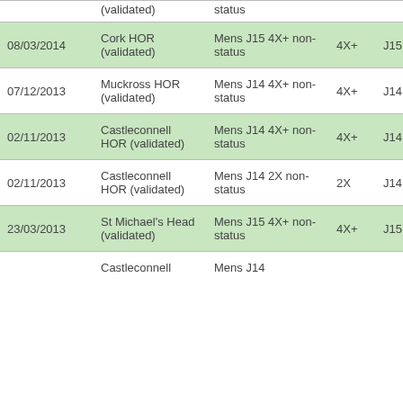| Date | Venue | Event | Boat | Age |
| --- | --- | --- | --- | --- |
| (validated) |  | status |  |  |
| 08/03/2014 | Cork HOR (validated) | Mens J15 4X+ non-status | 4X+ | J15 |
| 07/12/2013 | Muckross HOR (validated) | Mens J14 4X+ non-status | 4X+ | J14 |
| 02/11/2013 | Castleconnell HOR (validated) | Mens J14 4X+ non-status | 4X+ | J14 |
| 02/11/2013 | Castleconnell HOR (validated) | Mens J14 2X non-status | 2X | J14 |
| 23/03/2013 | St Michael's Head (validated) | Mens J15 4X+ non-status | 4X+ | J15 |
| 01/12/2013 | Castleconnell HOR | Mens J14 non-status | 4X+ | J14 |